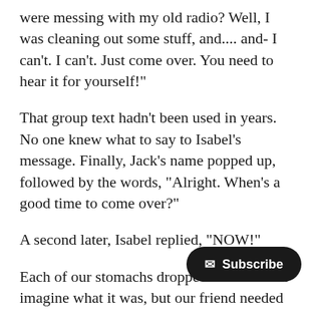were messing with my old radio? Well, I was cleaning out some stuff, and.... and- I can't. I can't. Just come over. You need to hear it for yourself!"
That group text hadn't been used in years. No one knew what to say to Isabel's message. Finally, Jack's name popped up, followed by the words, "Alright. When's a good time to come over?"
A second later, Isabel replied, "NOW!"
Each of our stomachs dropped. We couldn't imagine what it was, but our friend needed us. We all got to her house as quickly as we could.
Once we were all there, Isabel got out the radio and pointed the receiver up at the window we sent our